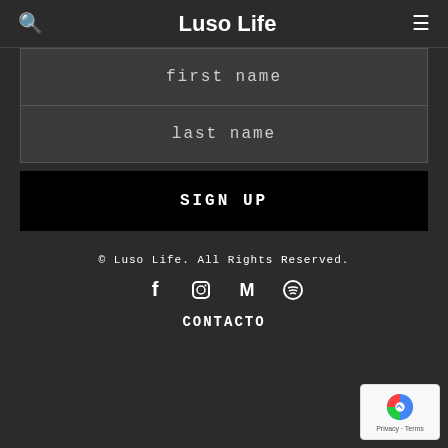Luso Life
first name
last name
SIGN UP
© Luso Life. All Rights Reserved.
[Figure (other): Social media icons: Facebook, Instagram, Medium, Spotify]
CONTACTO
[Figure (other): Google reCAPTCHA badge with Privacy and Terms links]